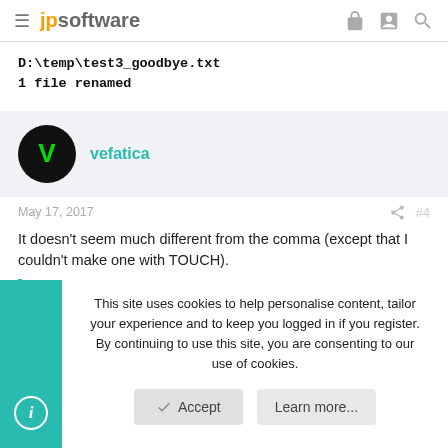jpsoftware
D:\temp\test3_goodbye.txt
1 file renamed
vefatica
May 17, 2017   #4
It doesn't seem much different from the comma (except that I couldn't make one with TOUCH).
This site uses cookies to help personalise content, tailor your experience and to keep you logged in if you register.
By continuing to use this site, you are consenting to our use of cookies.
Accept   Learn more...